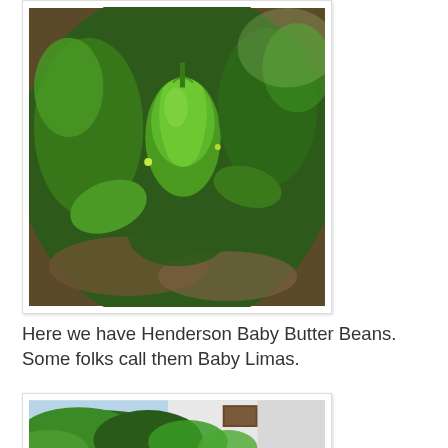[Figure (photo): Close-up photo of green bell peppers growing in a garden with lush foliage and soil visible]
Here we have Henderson Baby Butter Beans. Some folks call them Baby Limas.
[Figure (photo): Photo of a garden area with green plants near a white structure or shed]